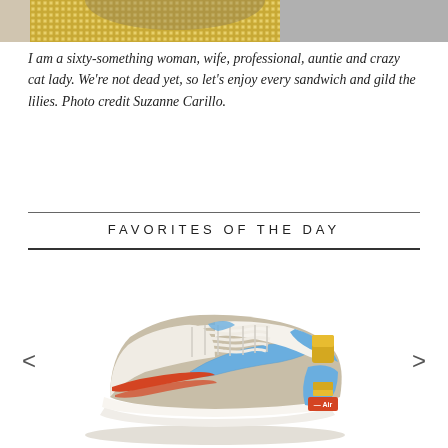[Figure (photo): Partial photo of a woman wearing a gold/sequin top, cropped at top of page]
I am a sixty-something woman, wife, professional, auntie and crazy cat lady. We're not dead yet, so let's enjoy every sandwich and gild the lilies. Photo credit Suzanne Carillo.
FAVORITES OF THE DAY
[Figure (photo): Nike Air Force 1 Shadow sneaker in multicolor — beige/tan base, blue swoosh and accents, yellow heel tab, red/orange stripe detail, white sole. Shown as a product photo with left and right carousel navigation arrows.]